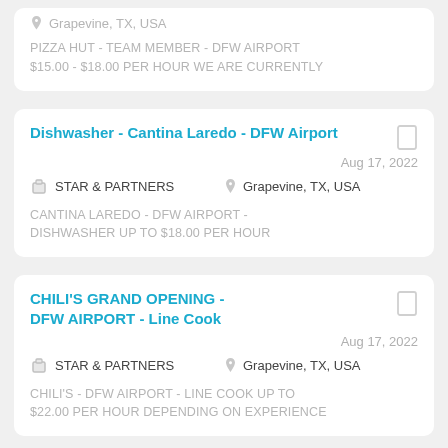Grapevine, TX, USA
PIZZA HUT - TEAM MEMBER - DFW AIRPORT $15.00 - $18.00 per hour WE ARE CURRENTLY
Dishwasher - Cantina Laredo - DFW Airport
Aug 17, 2022
STAR & PARTNERS
Grapevine, TX, USA
CANTINA LAREDO - DFW AIRPORT - DISHWASHER UP TO $18.00 PER HOUR
CHILI'S GRAND OPENING - DFW AIRPORT - Line Cook
Aug 17, 2022
STAR & PARTNERS
Grapevine, TX, USA
CHILI'S - DFW AIRPORT - LINE COOK UP TO $22.00 PER HOUR DEPENDING ON EXPERIENCE